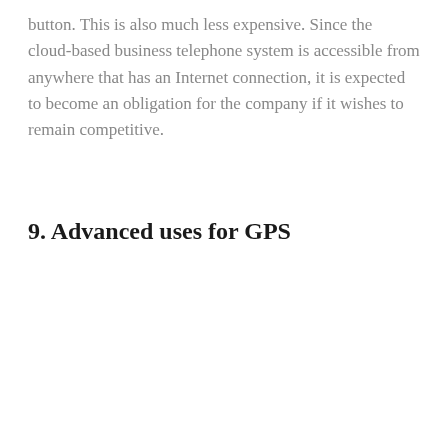button. This is also much less expensive. Since the cloud-based business telephone system is accessible from anywhere that has an Internet connection, it is expected to become an obligation for the company if it wishes to remain competitive.
9. Advanced uses for GPS